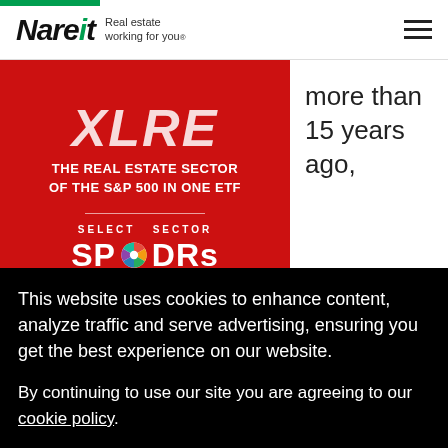Nareit Real estate working for you.
[Figure (photo): Red advertisement for XLRE - The Real Estate Sector of the S&P 500 in One ETF, featuring Select Sector SPDRs Exchange Traded Funds (ETFs) branding with wheel logo]
more than 15 years ago,
This website uses cookies to enhance content, analyze traffic and serve advertising, ensuring you get the best experience on our website.
By continuing to use our site you are agreeing to our cookie policy.
I accept